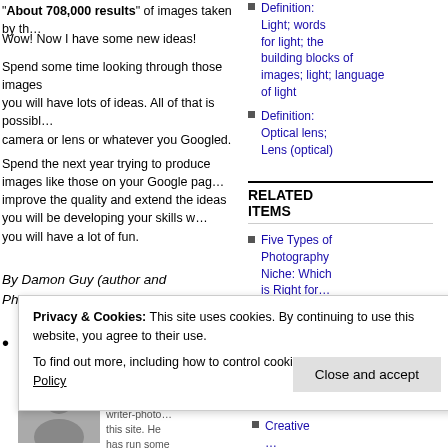"About 708,000 results" of images taken by that camera or lens or whatever you Googled.
Wow! Now I have some new ideas!
Spend some time looking through those images and you will have lots of ideas. All of that is possible with the camera or lens or whatever you Googled.
Spend the next year trying to produce images like those on your Google page. As you improve the quality and extend the ideas you will be developing your skills with and you will have a lot of fun.
By Damon Guy (author and Photokonnexion editor)
Definition: Light; words for light; the building blocks of images; light; language of light
Definition: Optical lens; Lens (optical)
RELATED ITEMS
Five Types of Photography Niche: Which is Right for
Privacy & Cookies: This site uses cookies. By continuing to use this website, you agree to their use. To find out more, including how to control cookies, see here: Cookie Policy
Close and accept
[Figure (photo): Author photo of Damon Guy]
Damon Guy (author and writer-photographer) has run this site. He has run some major
Creative ...